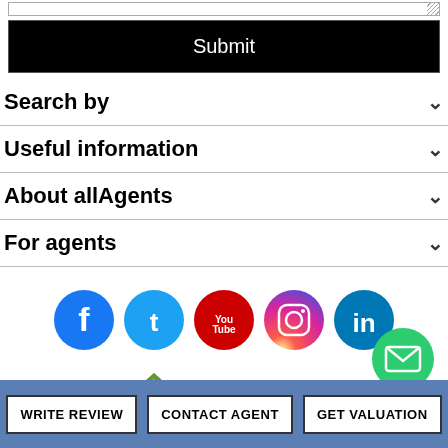Submit
Search by
Useful information
About allAgents
For agents
[Figure (other): Social media icons: Facebook, Twitter, YouTube, Instagram, LinkedIn]
[Figure (logo): allAgents logo with house icon]
Copyright © 2006 - 2022 allAgents.co.uk - All rights reserved.
Terms & Conditions | Privacy Policy | Review Guidelines | Cookie Policy
WRITE REVIEW | CONTACT AGENT | GET VALUATION